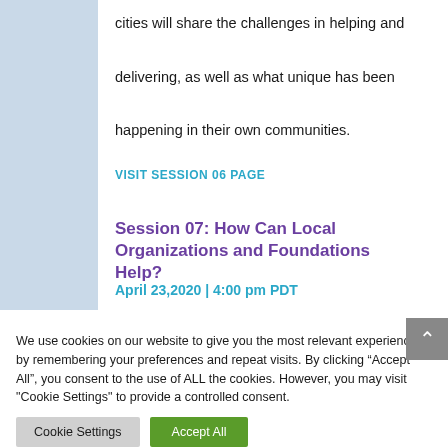cities will share the challenges in helping and delivering, as well as what unique has been happening in their own communities.
VISIT SESSION 06 PAGE
Session 07: How Can Local Organizations and Foundations Help?
April 23,2020 | 4:00 pm PDT
We use cookies on our website to give you the most relevant experience by remembering your preferences and repeat visits. By clicking “Accept All”, you consent to the use of ALL the cookies. However, you may visit "Cookie Settings" to provide a controlled consent.